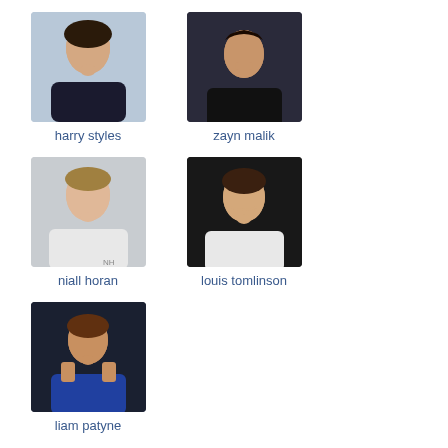[Figure (photo): Photo of Harry Styles, a young man in dark jacket]
harry styles
[Figure (photo): Photo of Zayn Malik, a young man with dark background]
zayn malik
[Figure (photo): Photo of Niall Horan, a young man in white top]
niall horan
[Figure (photo): Photo of Louis Tomlinson, smiling, dark background]
louis tomlinson
[Figure (photo): Photo of Liam Payne, leaning forward in blue jacket]
liam patyne
klub yang lain >>